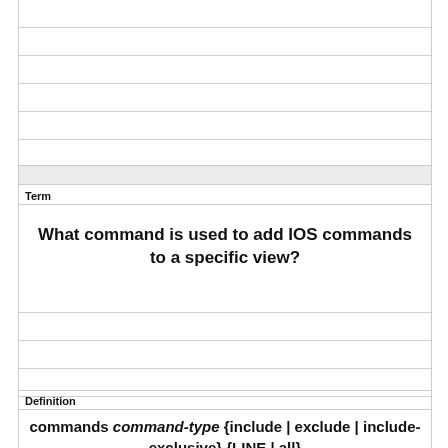Term
What command is used to add IOS commands to a specific view?
Definition
commands command-type {include | exclude | include-exclusive} {LINE | all}